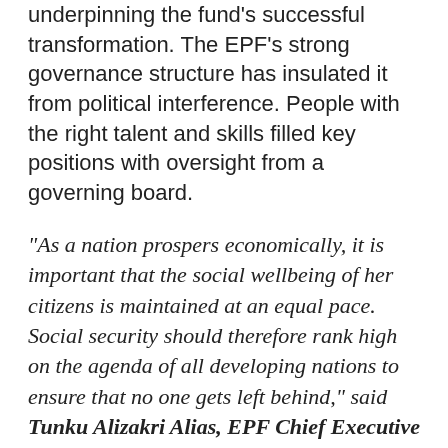underpinning the fund's successful transformation. The EPF's strong governance structure has insulated it from political interference. People with the right talent and skills filled key positions with oversight from a governing board.
"As a nation prospers economically, it is important that the social wellbeing of her citizens is maintained at an equal pace. Social security should therefore rank high on the agenda of all developing nations to ensure that no one gets left behind," said Tunku Alizakri Alias, EPF Chief Executive Officer. "We look forward to further collaborations with the World Bank in the areas of social protection and social wellbeing"
The report also notes that EPF's investment